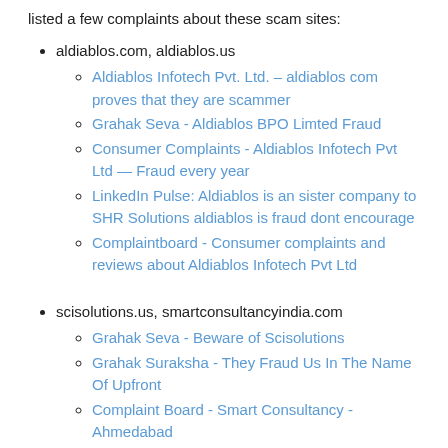listed a few complaints about these scam sites:
aldiablos.com, aldiablos.us
Aldiablos Infotech Pvt. Ltd. – aldiablos com proves that they are scammer
Grahak Seva - Aldiablos BPO Limted Fraud
Consumer Complaints - Aldiablos Infotech Pvt Ltd — Fraud every year
LinkedIn Pulse: Aldiablos is an sister company to SHR Solutions aldiablos is fraud dont encourage
Complaintboard - Consumer complaints and reviews about Aldiablos Infotech Pvt Ltd
scisolutions.us, smartconsultancyindia.com
Grahak Seva - Beware of Scisolutions
Grahak Suraksha - They Fraud Us In The Name Of Upfront
Complaint Board - Smart Consultancy - Ahmedabad